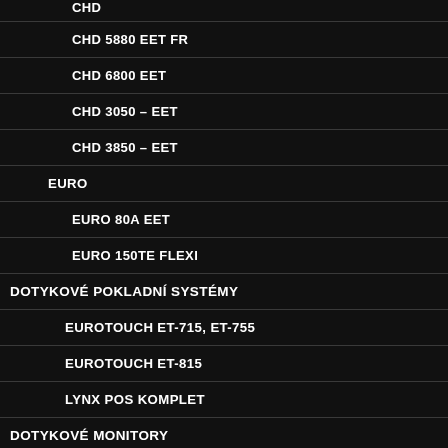CHD
CHD 5880 EET FR
CHD 6800 EET
CHD 3050 – EET
CHD 3850 – EET
EURO
EURO 80A EET
EURO 150TE FLEXI
DOTYKOVÉ POKLADNÍ SYSTÉMY
EUROTOUCH ET-715, ET-755
EUROTOUCH ET-815
LYNX POS KOMPLET
DOTYKOVÉ MONITORY